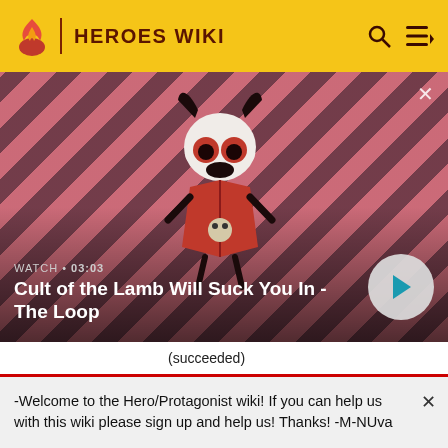HEROES WIKI
[Figure (screenshot): Video thumbnail for 'Cult of the Lamb Will Suck You In - The Loop' showing a cartoon lamb character with horns and red eyes on a red diagonal stripe background. Duration: 03:03. Play button visible.]
|  | (succeeded) |
| FAMILY | No information |
-Welcome to the Hero/Protagonist wiki! If you can help us with this wiki please sign up and help us! Thanks! -M-NUva